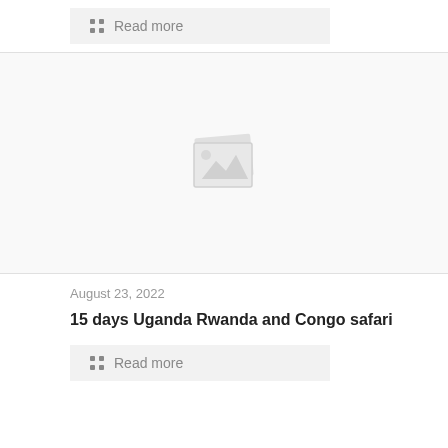Read more
[Figure (illustration): Placeholder image icon showing a broken/missing image symbol with a landscape icon, light gray on white background]
August 23, 2022
15 days Uganda Rwanda and Congo safari
Read more